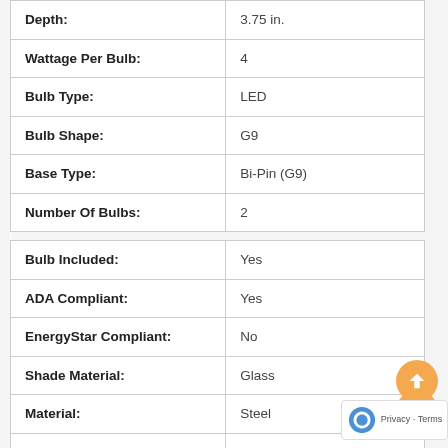| Attribute | Value |
| --- | --- |
| Depth: | 3.75 in. |
| Wattage Per Bulb: | 4 |
| Bulb Type: | LED |
| Bulb Shape: | G9 |
| Base Type: | Bi-Pin (G9) |
| Number Of Bulbs: | 2 |
| Bulb Included: | Yes |
| ADA Compliant: | Yes |
| EnergyStar Compliant: | No |
| Shade Material: | Glass |
| Material: | Steel |
| Mix And Match: | No |